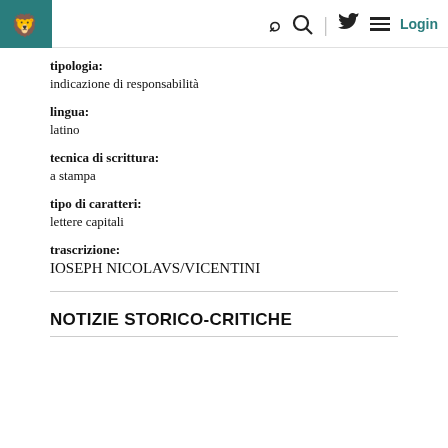Login
tipologia:
indicazione di responsabilità
lingua:
latino
tecnica di scrittura:
a stampa
tipo di caratteri:
lettere capitali
trascrizione:
IOSEPH NICOLAVS/VICENTINI
NOTIZIE STORICO-CRITICHE